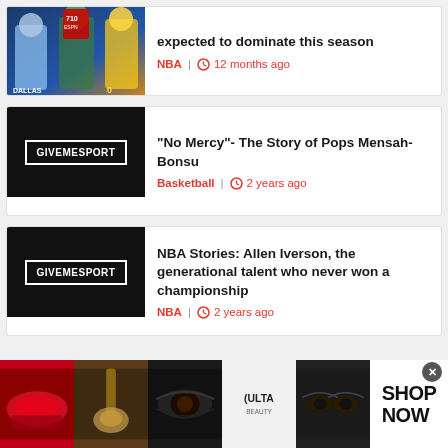[Figure (screenshot): News article thumbnail showing NBA basketball players from Dallas and Lakers teams]
expected to dominate this season
NBA | 12 months ago
[Figure (logo): GIVEMESPORT logo on black background]
"No Mercy"- The Story of Pops Mensah-Bonsu
Basketball | 2 years ago
[Figure (logo): GIVEMESPORT logo on black background]
NBA Stories: Allen Iverson, the generational talent who never won a championship
NBA | 2 years ago
[Figure (screenshot): Ulta Beauty advertisement banner with makeup imagery and SHOP NOW call to action]